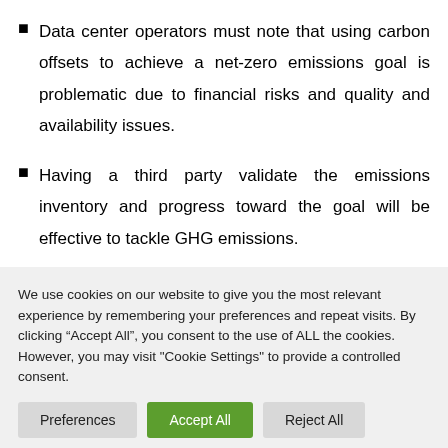Data center operators must note that using carbon offsets to achieve a net-zero emissions goal is problematic due to financial risks and quality and availability issues.
Having a third party validate the emissions inventory and progress toward the goal will be effective to tackle GHG emissions.
We use cookies on our website to give you the most relevant experience by remembering your preferences and repeat visits. By clicking “Accept All”, you consent to the use of ALL the cookies. However, you may visit "Cookie Settings" to provide a controlled consent.